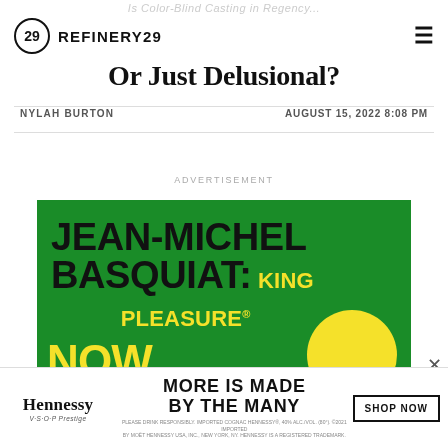Or Just Delusional? (partial header text cropped at top)
[Figure (logo): Refinery29 logo: circle with 29 inside and REFINERY29 text]
Or Just Delusional?
NYLAH BURTON
AUGUST 15, 2022 8:08 PM
ADVERTISEMENT
[Figure (infographic): Green background advertisement for Jean-Michel Basquiat: King Pleasure exhibit, with large black bold text and yellow accent text, partially showing NOW text and yellow circle at bottom]
[Figure (infographic): Bottom banner advertisement for Hennessy V.S.O.P Privilege: MORE IS MADE BY THE MANY with SHOP NOW button]